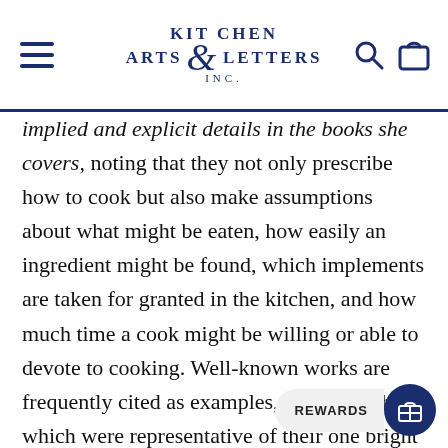Kitchen Arts & Letters Inc. — navigation header with logo, hamburger menu, search and cart icons
implied and explicit details in the books she covers, noting that they not only prescribe how to cook but also make assumptions about what might be eaten, how easily an ingredient might be found, which implements are taken for granted in the kitchen, and how much time a cook might be willing or able to devote to cooking. Well-known works are frequently cited as examples, but so are those which were representative of their one bright moment: Foods that will Win the War (1918); Frigidaire Frozen Delights (1927); The Beat Generation Cookbook (1961). Readers wedded to the idea the fare has been relatively static will also learn that many